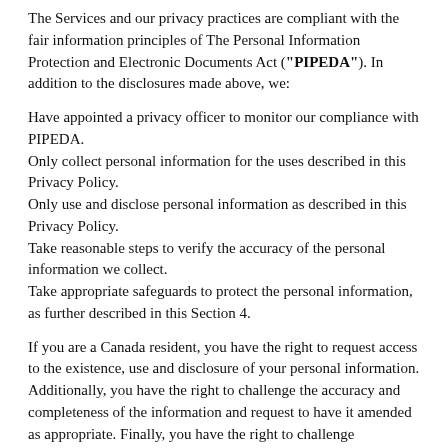The Services and our privacy practices are compliant with the fair information principles of The Personal Information Protection and Electronic Documents Act ("PIPEDA"). In addition to the disclosures made above, we:
Have appointed a privacy officer to monitor our compliance with PIPEDA.
Only collect personal information for the uses described in this Privacy Policy.
Only use and disclose personal information as described in this Privacy Policy.
Take reasonable steps to verify the accuracy of the personal information we collect.
Take appropriate safeguards to protect the personal information, as further described in this Section 4.
If you are a Canada resident, you have the right to request access to the existence, use and disclosure of your personal information. Additionally, you have the right to challenge the accuracy and completeness of the information and request to have it amended as appropriate. Finally, you have the right to challenge MoxiWorks's compliance with the PIPEDA fair information principles by contacting our